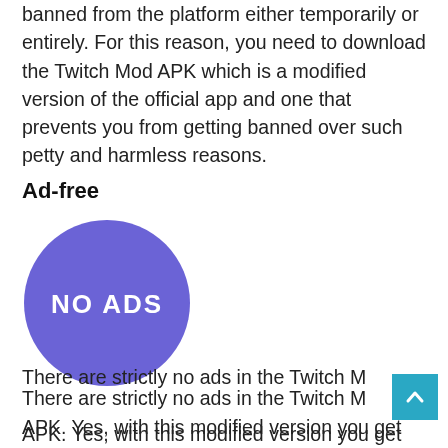banned from the platform either temporarily or entirely. For this reason, you need to download the Twitch Mod APK which is a modified version of the official app and one that prevents you from getting banned over such petty and harmless reasons.
Ad-free
[Figure (illustration): A purple/indigo circle with white bold text reading 'NO ADS' in the center]
There are strictly no ads in the Twitch Mod APK. Yes, with this modified version you get